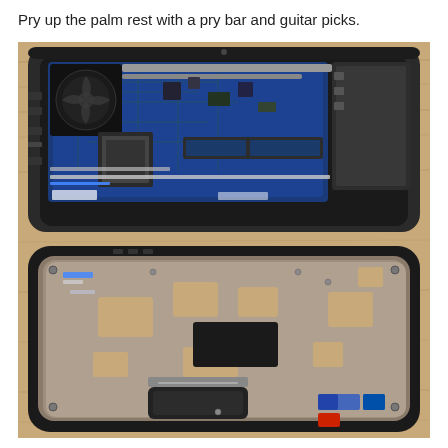Pry up the palm rest with a pry bar and guitar picks.
[Figure (photo): A disassembled laptop shown from above. The top half shows the laptop base with the palm rest removed, revealing the internal components: motherboard with blue PCB, CPU cooler fan (black), heat pipes, RAM slots, various connectors, ribbon cables, and metal shielding. The bottom half shows the palm rest (underside facing up) with a dark plastic exterior, touchpad, sticker labels, and internal metal shielding with cutouts for connectors. Both pieces are resting on a light wood-grain surface.]